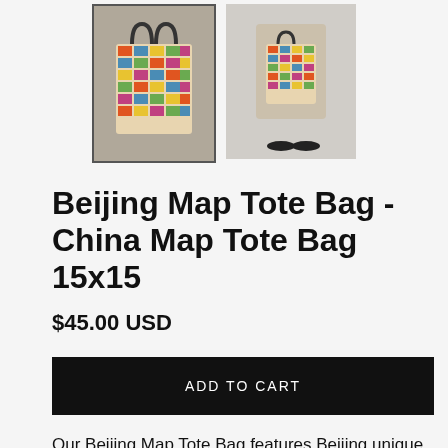[Figure (photo): Two product thumbnail images of the Beijing Map Tote Bag. Left image shows the bag flat with colorful map print, with a border indicating it is selected. Right image shows a person carrying the bag.]
Beijing Map Tote Bag - China Map Tote Bag 15x15
$45.00 USD
ADD TO CART
Our Beijing Map Tote Bag features Beijing unique features in a bold and colorful way.
Dimosions are 15x15 inches (38x38 cm). It comes